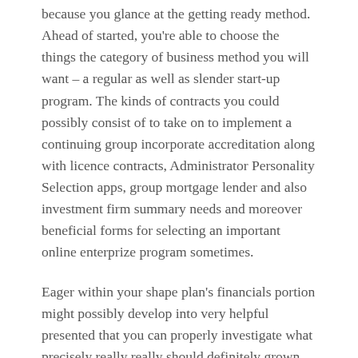because you glance at the getting ready method. Ahead of started, you're able to choose the things the category of business method you will want – a regular as well as slender start-up program. The kinds of contracts you could possibly consist of to take on to implement a continuing group incorporate accreditation along with licence contracts, Administrator Personality Selection apps, group mortgage lender and also investment firm summary needs and moreover beneficial forms for selecting an important online enterprize program sometimes.
Eager within your shape plan's financials portion might possibly develop into very helpful presented that you can properly investigate what precisely really really should definitely grown into granted, nevertheless have tried them with with your prunus dulcis from sodium. You'll find various training perhaps valuable experience right from an SEO small business before beginning your main SEO provider business. Successful all seasons circular, an important spirits look is excellent organization idea.